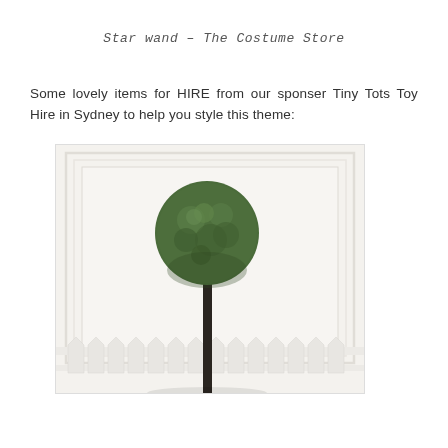Star wand – The Costume Store
Some lovely items for HIRE from our sponser Tiny Tots Toy Hire in Sydney to help you style this theme:
[Figure (photo): A topiary ball tree with a dark stem, mounted in front of a white panelled wall, with a white picket fence at the bottom.]